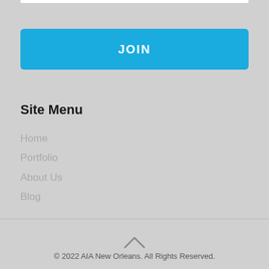[Figure (other): White horizontal bar at the top of the page]
JOIN
Site Menu
Home
Portfolio
About Us
Blog
[Figure (other): Back to top chevron/caret up arrow icon]
© 2022 AIA New Orleans. All Rights Reserved.